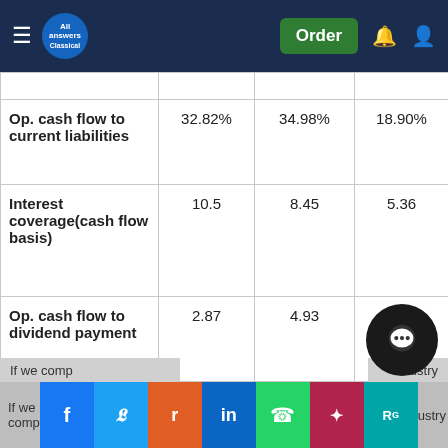All Answers Classical — navigation bar with Order button
|  |  |  |  |
| --- | --- | --- | --- |
| Op. cash flow to current liabilities | 32.82% | 34.98% | 18.90% |
| Interest coverage(cash flow basis) | 10.5 | 8.45 | 5.36 |
| Op. cash flow to dividend payment | 2.87 | 4.93 | 8.75 |
If we comp...ustry
Social share bar: Facebook, Twitter, Reddit, LinkedIn, WhatsApp, Mendeley, ResearchGate